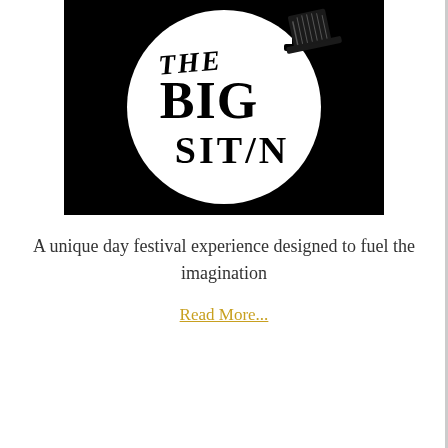[Figure (logo): The Big Sit In logo — white circle on black rectangular background, with hand-drawn text reading THE BIG SIT IN and a top hat illustration]
A unique day festival experience designed to fuel the imagination
Read More...